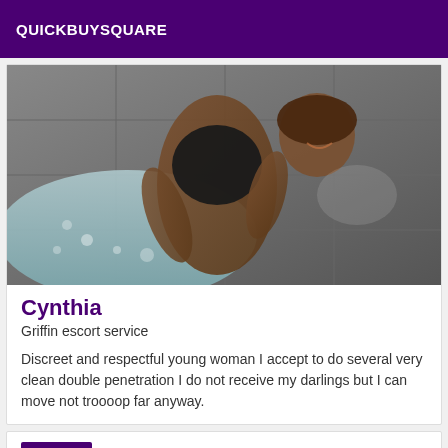QUICKBUYSQUARE
[Figure (photo): A young woman in a black swimsuit posing by a hot tub / jacuzzi on tiled floor, leaning forward and smiling at the camera.]
Cynthia
Griffin escort service
Discreet and respectful young woman I accept to do several very clean double penetration I do not receive my darlings but I can move not troooop far anyway.
Verified